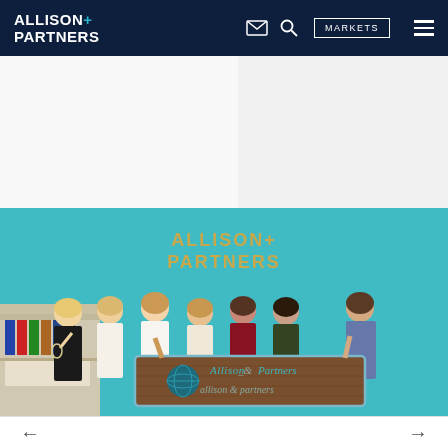ALLISON+ PARTNERS | MARKETS
[Figure (photo): Allison+Partners office photo: group of seven people (six women, one man) standing in front of a teal wall with the Allison+Partners logo in gold lettering. The group is holding a wooden sign reading 'Allison & Partners'. There is a bookshelf/reception area visible to the left.]
Navigation arrows (left and right)